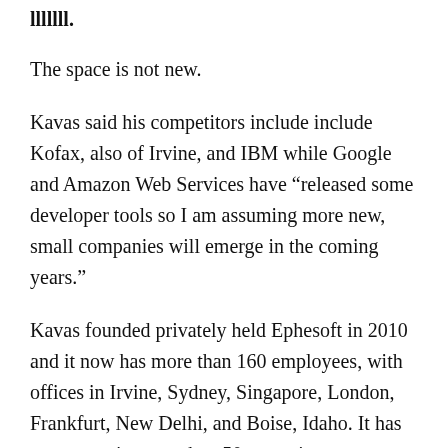lllllll.
The space is not new.
Kavas said his competitors include include Kofax, also of Irvine, and IBM while Google and Amazon Web Services have “released some developer tools so I am assuming more new, small companies will emerge in the coming years.”
Kavas founded privately held Ephesoft in 2010 and it now has more than 160 employees, with offices in Irvine, Sydney, Singapore, London, Frankfurt, New Delhi, and Boise, Idaho. It has customers in more than 50 countries.
Topping $20M